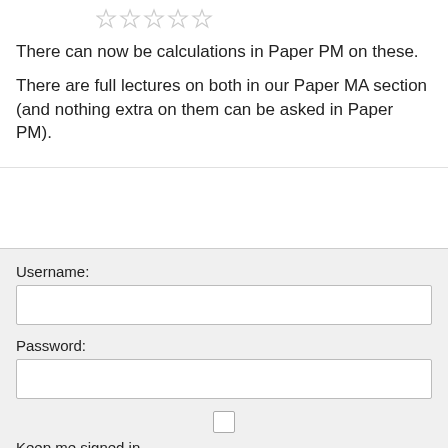[Figure (other): Five empty star rating icons in a row]
There can now be calculations in Paper PM on these.
There are full lectures on both in our Paper MA section (and nothing extra on them can be asked in Paper PM).
Username:
Password:
Keep me signed in
Log In